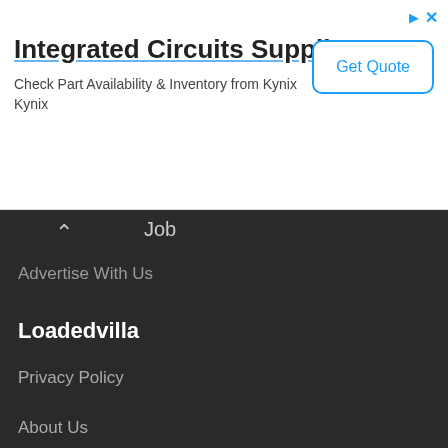[Figure (screenshot): Advertisement banner for Integrated Circuits Supplier (Kynix) with a Get Quote button]
Integrated Circuits Supplier
Check Part Availability & Inventory from Kynix Kynix
Job
Advertise With Us
Loadedvilla
Privacy Policy
About Us
Contact Us
Send Feedback
Testimonials
We Are Social
Facebook